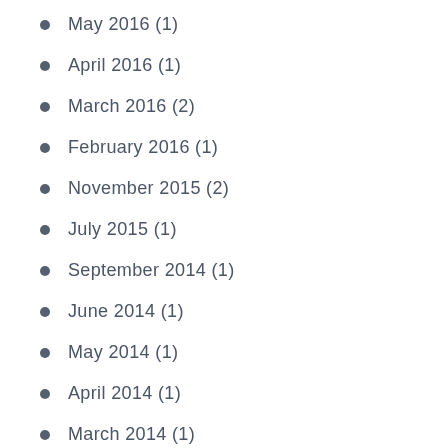May 2016 (1)
April 2016 (1)
March 2016 (2)
February 2016 (1)
November 2015 (2)
July 2015 (1)
September 2014 (1)
June 2014 (1)
May 2014 (1)
April 2014 (1)
March 2014 (1)